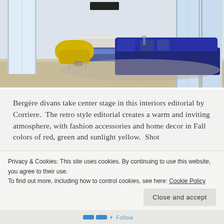[Figure (photo): Interior editorial photo showing a bright living room with a yellow bergère chair on the left, a large navy blue sectional sofa on the right, a fireplace with white mantle in the background, large windows, and a flat-screen TV above the fireplace.]
Bergère divans take center stage in this interiors editorial by Corriere.  The retro style editorial creates a warm and inviting atmosphere, with fashion accessories and home decor in Fall colors of red, green and sunlight yellow.  Shot
Privacy & Cookies: This site uses cookies. By continuing to use this website, you agree to their use.
To find out more, including how to control cookies, see here: Cookie Policy
Close and accept